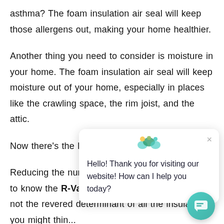asthma? The foam insulation air seal will keep those allergens out, making your home healthier.
Another thing you need to consider is moisture in your home. The foam insulation air seal will keep moisture out of your home, especially in places like the crawling space, the rim joist, and the attic.
Now there's the R-Valu[e...]
Reducing the number [...] the whole story. It's great to know the R-Value of your insulation, but it's not the revered determinant of all the insulation you might thin[k].